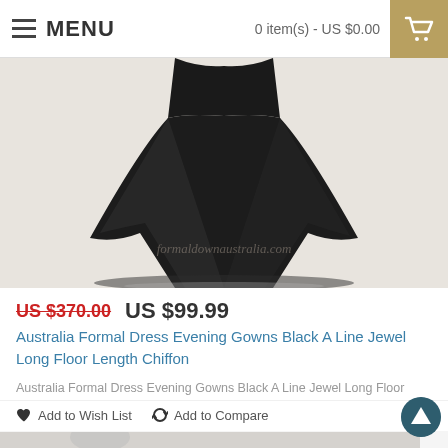MENU | 0 item(s) - US $0.00
[Figure (photo): Black chiffon formal dress/evening gown, floor length, viewed from below waist showing the skirt flare. Watermark text partially visible in background.]
US $370.00  US $99.99
Australia Formal Dress Evening Gowns Black A Line Jewel Long Floor Length Chiffon
Australia Formal Dress Evening Gowns Black A Line Jewel Long Floor Length ChiffonFabric - ChiffonHe..
♥ Add to Wish List   ↻ Add to Compare
[Figure (photo): Partial view of second product image showing a model with arm raised, light background.]